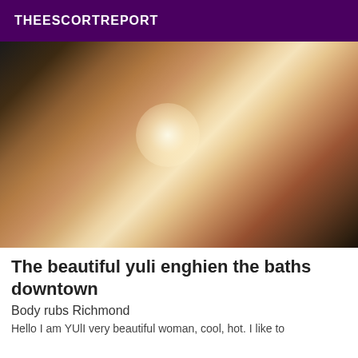THEESCORTREPORT
[Figure (photo): A woman photographed from behind wearing white underwear, standing in a bedroom with pillows and stuffed animals visible in the background.]
The beautiful yuli enghien the baths downtown
Body rubs Richmond
Hello I am YUlI very beautiful woman, cool, hot. I like to